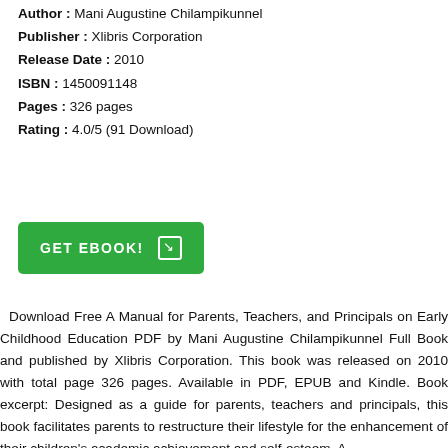Author : Mani Augustine Chilampikunnel
Publisher : Xlibris Corporation
Release Date : 2010
ISBN : 1450091148
Pages : 326 pages
Rating : 4.0/5 (91 Download)
[Figure (other): Green GET EBOOK! button with arrow icon]
Download Free A Manual for Parents, Teachers, and Principals on Early Childhood Education PDF by Mani Augustine Chilampikunnel Full Book and published by Xlibris Corporation. This book was released on 2010 with total page 326 pages. Available in PDF, EPUB and Kindle. Book excerpt: Designed as a guide for parents, teachers and principals, this book facilitates parents to restructure their lifestyle for the enhancement of their children's academic achievement and self-esteem. A